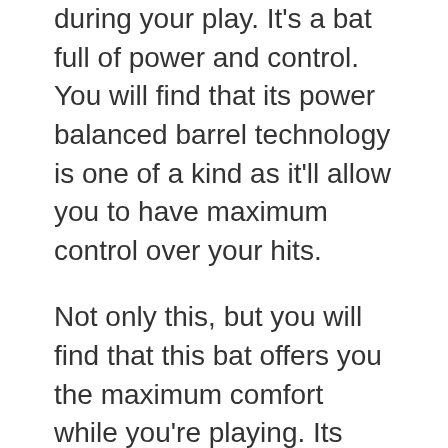during your play. It's a bat full of power and control. You will find that its power balanced barrel technology is one of a kind as it'll allow you to have maximum control over your hits.
Not only this, but you will find that this bat offers you the maximum comfort while you're playing. Its ergonomic grip handle ensures that you're able to stay comfortable throughout your play. The grip will fit your hand like a glove and keep your grip firm throughout.
The overall look of the baseball bat is also phenomenal, which will further add to it boosting your confidence. It has a striking